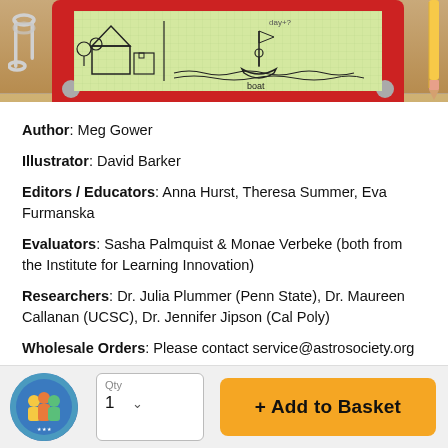[Figure (illustration): Top portion of a book product page showing an illustrated etch-a-sketch style drawing of a house and a boat on water, set on a wooden desk background with paper clips on the left and a pencil on the right.]
Author: Meg Gower
Illustrator: David Barker
Editors / Educators: Anna Hurst, Theresa Summer, Eva Furmanska
Evaluators: Sasha Palmquist & Monae Verbeke (both from the Institute for Learning Innovation)
Researchers: Dr. Julia Plummer (Penn State), Dr. Maureen Callanan (UCSC), Dr. Jennifer Jipson (Cal Poly)
Wholesale Orders: Please contact service@astrosociety.org
[Figure (illustration): Circular book thumbnail icon showing children figures on a blue/teal background.]
Qty 1
+ Add to Basket